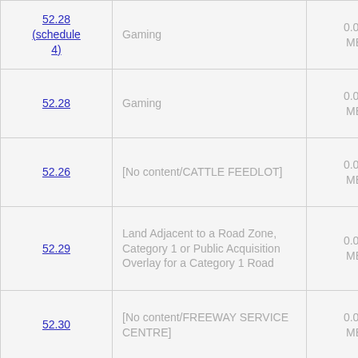| Section | Description | Size |
| --- | --- | --- |
| 52.28 (schedule 4) | Gaming | 0.01 MB |
| 52.28 | Gaming | 0.03 MB |
| 52.26 | [No content/CATTLE FEEDLOT] | 0.01 MB |
| 52.29 | Land Adjacent to a Road Zone, Category 1 or Public Acquisition Overlay for a Category 1 Road | 0.02 MB |
| 52.30 | [No content/FREEWAY SERVICE CENTRE] | 0.03 MB |
| 52.31 | [No content] | 0.02 MB |